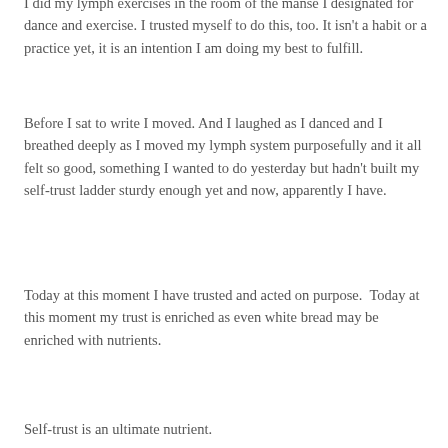I did my lymph exercises in the room of the manse I designated for dance and exercise. I trusted myself to do this, too. It isn't a habit or a practice yet, it is an intention I am doing my best to fulfill.
Before I sat to write I moved. And I laughed as I danced and I breathed deeply as I moved my lymph system purposefully and it all felt so good, something I wanted to do yesterday but hadn't built my self-trust ladder sturdy enough yet and now, apparently I have.
Today at this moment I have trusted and acted on purpose.  Today at this moment my trust is enriched as even white bread may be enriched with nutrients.
Self-trust is an ultimate nutrient.